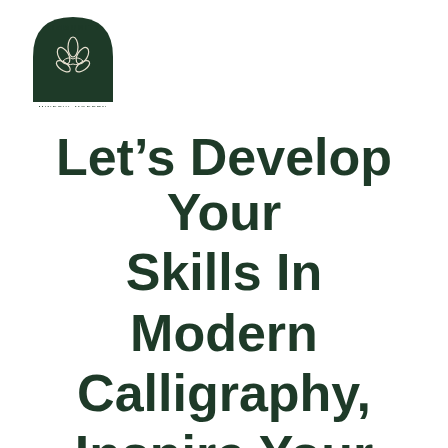[Figure (logo): Kimmunity Mindful Modern Calligraphy logo: dark green arch with lotus flower inside, text 'KIMMUNITY' along top arc and 'MINDFUL MODERN CALLIGRAPHY' below]
Let's Develop Your Skills In Modern Calligraphy, Inspire Your